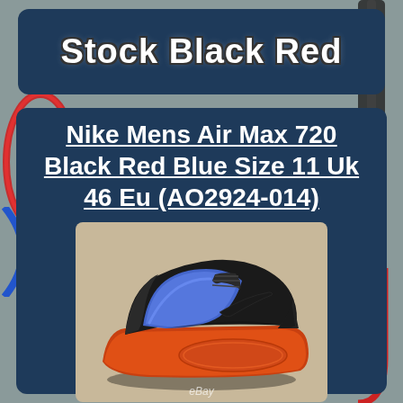Stock Black Red
Nike Mens Air Max 720 Black Red Blue Size 11 Uk 46 Eu (AO2924-014)
[Figure (photo): Nike Air Max 720 sneaker in black with blue accents and red/orange air sole unit, shown in side profile view on a beige/carpet surface. eBay watermark visible.]